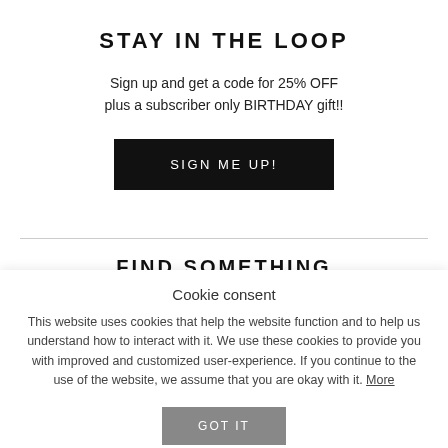STAY IN THE LOOP
Sign up and get a code for 25% OFF plus a subscriber only BIRTHDAY gift!!
SIGN ME UP!
FIND SOMETHING
Cookie consent
This website uses cookies that help the website function and to help us understand how to interact with it. We use these cookies to provide you with improved and customized user-experience. If you continue to the use of the website, we assume that you are okay with it. More
GOT IT